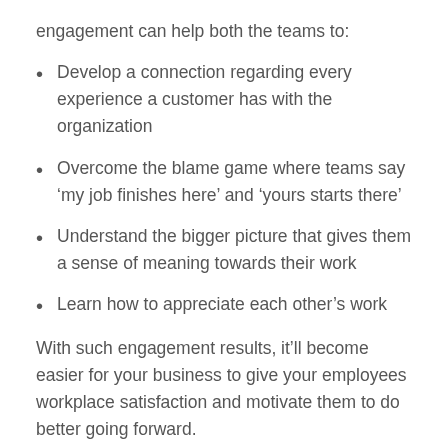engagement can help both the teams to:
Develop a connection regarding every experience a customer has with the organization
Overcome the blame game where teams say ‘my job finishes here’ and ‘yours starts there’
Understand the bigger picture that gives them a sense of meaning towards their work
Learn how to appreciate each other’s work
With such engagement results, it’ll become easier for your business to give your employees workplace satisfaction and motivate them to do better going forward.